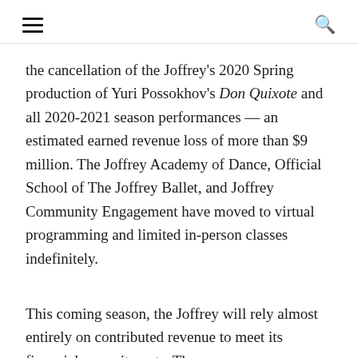☰   🔍
the cancellation of the Joffrey's 2020 Spring production of Yuri Possokhov's Don Quixote and all 2020-2021 season performances — an estimated earned revenue loss of more than $9 million. The Joffrey Academy of Dance, Official School of The Joffrey Ballet, and Joffrey Community Engagement have moved to virtual programming and limited in-person classes indefinitely.
This coming season, the Joffrey will rely almost entirely on contributed revenue to meet its financial commitments. The